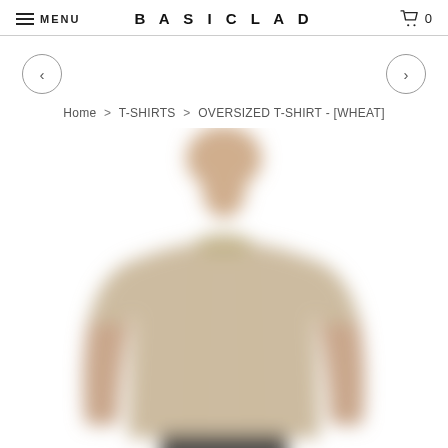MENU  BASICLAD  0
Home > T-SHIRTS > OVERSIZED T-SHIRT - [WHEAT]
[Figure (photo): Blurred product photo of a person wearing an oversized wheat-colored t-shirt against a white background]